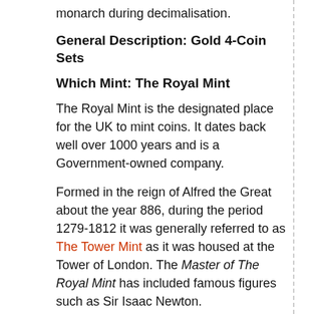monarch during decimalisation.
General Description: Gold 4-Coin Sets
Which Mint: The Royal Mint
The Royal Mint is the designated place for the UK to mint coins. It dates back well over 1000 years and is a Government-owned company.
Formed in the reign of Alfred the Great about the year 886, during the period 1279-1812 it was generally referred to as The Tower Mint as it was housed at the Tower of London. The Master of The Royal Mint has included famous figures such as Sir Isaac Newton.
Since 2010 it has operated as Royal Mint Ltd, a company owned by HM Treasury, under an exclusive contract to supply all coinage for the UK although it also produces medals and coins for other countries. It is currently located at Llantrisant, Wales.